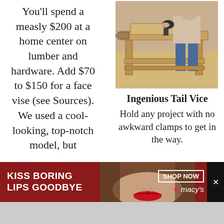You'll spend a measly $200 at a home center on lumber and hardware. Add $70 to $150 for a face vise (see Sources). We used a cool-looking, top-notch model, but
[Figure (photo): Person working on a wooden workbench, using a power tool on a wood project]
Ingenious Tail Vice
Hold any project with no awkward clamps to get in the way.
[Figure (other): Macy's advertisement: KISS BORING LIPS GOODBYE, with a woman's face and red lips, SHOP NOW button and Macy's star logo]